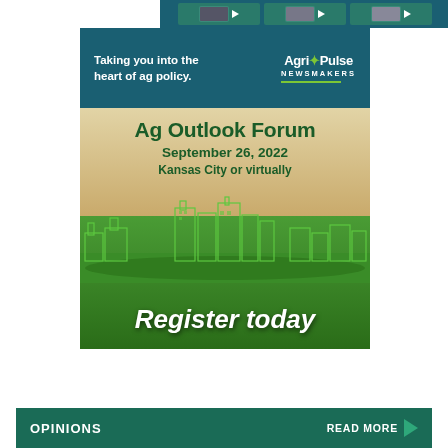[Figure (illustration): Agri-Pulse Newsmakers banner: dark teal background with video thumbnails at top showing play buttons, text 'Taking you into the heart of ag policy.' on left and Agri/Pulse NEWSMAKERS logo on right]
[Figure (illustration): Ag Outlook Forum promotional banner: wood-grain and green gradient background with city skyline illustration, text reads 'Ag Outlook Forum September 26, 2022 Kansas City or virtually Register today']
OPINIONS
READ MORE